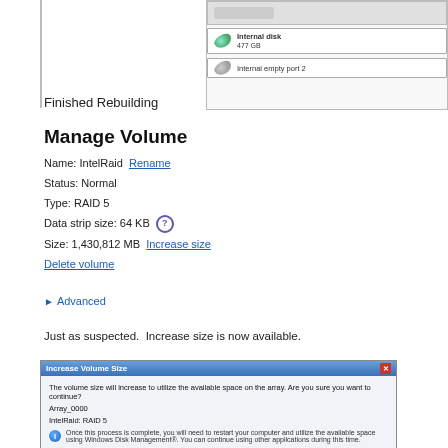[Figure (screenshot): Partial screenshot showing disk management UI with internal disk entries (Internal disk 477 GB, Internal empty port 2) inside a panel with a left border bar.]
Finished Rebuilding
Manage Volume
Name: IntelRaid  Rename
Status: Normal
Type: RAID 5
Data strip size: 64 KB (?)
Size: 1,430,812 MB  Increase size
Delete volume
▶ Advanced
Just as suspected.  Increase size is now available.
[Figure (screenshot): Increase Volume Size dialog box. Text: 'The volume size will increase to utilize the available space on the array. Are you sure you want to continue?' Array_0000, IntelRaid: RAID 5. Info icon with text: 'Once this process is complete, you will need to restart your computer and utilize the available space using Windows Disk Management®. You can continue using other applications during this time.']